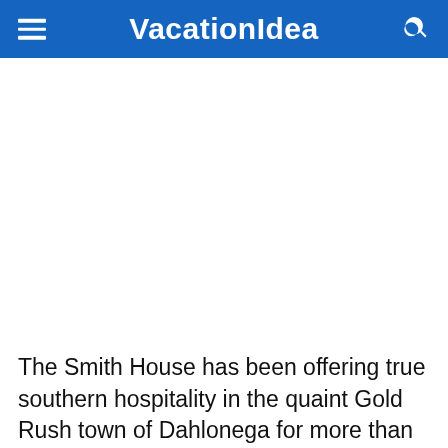VacationIdea
[Figure (photo): Image placeholder area showing a photo related to Smith House in Dahlonega (image not visible in this crop)]
The Smith House has been offering true southern hospitality in the quaint Gold Rush town of Dahlonega for more than 120 years.